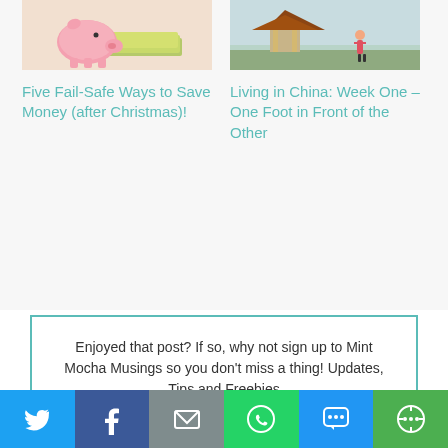[Figure (photo): Piggy bank with money/dollar bills]
Five Fail-Safe Ways to Save Money (after Christmas)!
[Figure (photo): Person in traditional Chinese setting with pavilion in background]
Living in China: Week One – One Foot in Front of the Other
Enjoyed that post? If so, why not sign up to Mint Mocha Musings so you don't miss a thing! Updates, Tips and Freebies
Email
Enter your email
Get It Now!
[Figure (infographic): Social sharing bar with Twitter, Facebook, Email, WhatsApp, SMS, and More buttons]